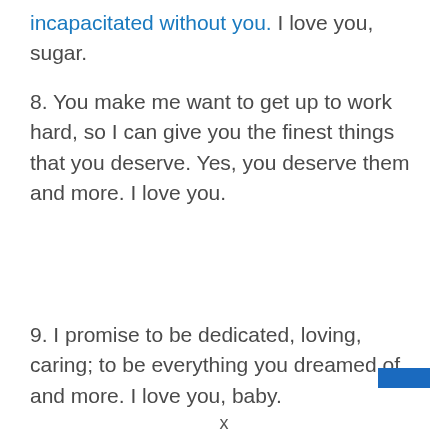incapacitated without you. I love you, sugar.
8. You make me want to get up to work hard, so I can give you the finest things that you deserve. Yes, you deserve them and more. I love you.
9. I promise to be dedicated, loving, caring; to be everything you dreamed of and more. I love you, baby.